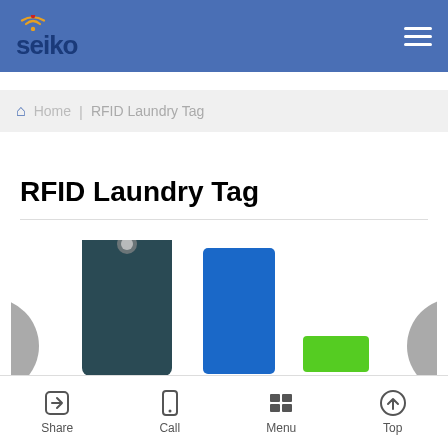Seiko | RFID Laundry Tag
Home | RFID Laundry Tag
RFID Laundry Tag
[Figure (photo): Product photos of RFID Laundry Tags in multiple colors and sizes: dark teal/navy tag with hole, blue card-style tag, green narrow tag, and partially visible grey tag]
Share | Call | Menu | Top